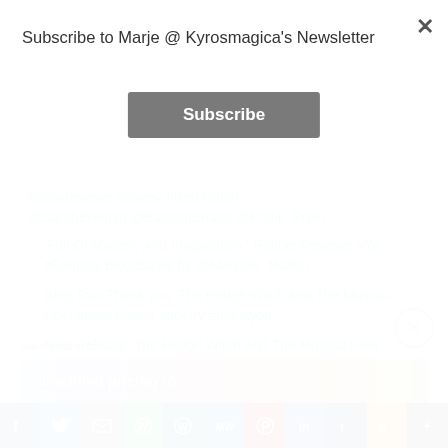Subscribe to Marje @ Kyrosmagica's Newsletter
Subscribe (button)
#bookreviews #poetry #flashfiction @SarahBrentyn @BalroopShado @Frank_Prem
'Full Of Mystery And Imagination.' Robbie Reviews #Ya #Fantasy Bloodstone by @Marjorie_Mallon
Blog Tour Thank you: The Hedge Witch And The Musical Poet #newrelease #poetry #thankyou
New Release: The Hedge Witch And The Musical Poet #poetry #flashfiction #forest #witch
Blog Tour Dark Goddess, Dark Creation 13th August @lolasblogtours @kelseyketch #dark
Advertisements
[Figure (screenshot): Advertisement banner showing 'Simplified pricing for']
[Figure (infographic): Social share bar with Facebook, Twitter, Email, WhatsApp, WordPress, MeWe, Pinterest, LinkedIn, Tumblr, Amazon, and More buttons]